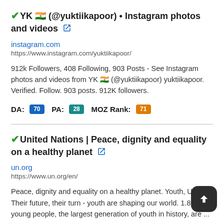✔YK 🇮🇳 (@yuktiikapoor) • Instagram photos and videos 🔗
instagram.com
https://www.instagram.com/yuktiikapoor/
912k Followers, 408 Following, 903 Posts - See Instagram photos and videos from YK 🇮🇳 (@yuktiikapoor) yuktiikapoor. Verified. Follow. 903 posts. 912K followers.
DA: 70  PA: 28  MOZ Rank: 71
✔United Nations | Peace, dignity and equality on a healthy planet 🔗
un.org
https://www.un.org/en/
Peace, dignity and equality on a healthy planet. Youth, UNDP Their future, their turn - youth are shaping our world. 1.8 billion young people, the largest generation of youth in history, are ...
DA: 47  PA: 9  MOZ Rank: 66